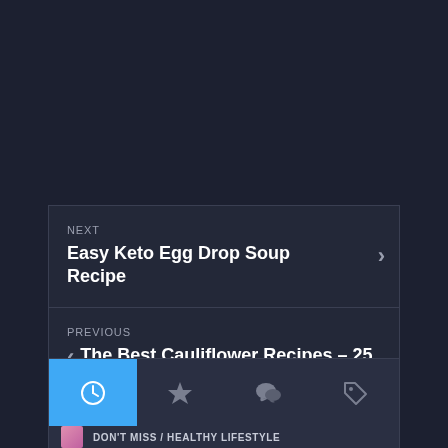NEXT
Easy Keto Egg Drop Soup Recipe
PREVIOUS
The Best Cauliflower Recipes – 25 Super Healthy Ideas!
[Figure (screenshot): Tab bar with four icon tabs: clock (active, blue background), star, comment/chat, and tag icons]
DON'T MISS / HEALTHY LIFESTYLE